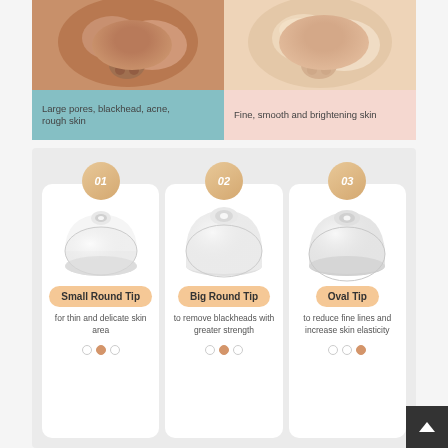[Figure (photo): Before/after split comparison photo of skin: left half shows skin with large pores, blackheads, acne, rough texture; right half shows fine, smooth and brightening skin. Below the photo are two colored label panels - left in teal/blue and right in pink.]
Large pores, blackhead, acne, rough skin
Fine, smooth and brightening skin
[Figure (infographic): Three product tip cards on grey background. Each card shows a suction cup tip attachment with a number badge (01, 02, 03), a label badge, and description text. Card 1: Small Round Tip - for thin and delicate skin area. Card 2: Big Round Tip - to remove blackheads with greater strength. Card 3: Oval Tip - to reduce fine lines and increase skin elasticity.]
Small Round Tip
for thin and delicate skin area
Big Round Tip
to remove blackheads with greater strength
Oval Tip
to reduce fine lines and increase skin elasticity